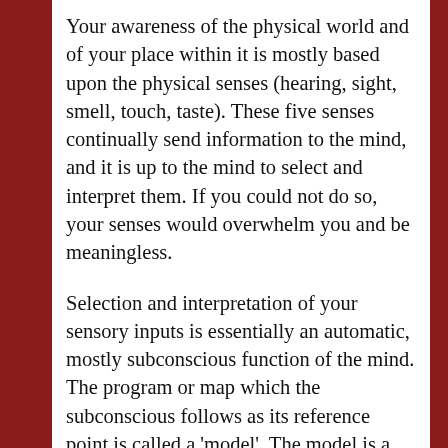Your awareness of the physical world and of your place within it is mostly based upon the physical senses (hearing, sight, smell, touch, taste). These five senses continually send information to the mind, and it is up to the mind to select and interpret them. If you could not do so, your senses would overwhelm you and be meaningless.
Selection and interpretation of your sensory inputs is essentially an automatic, mostly subconscious function of the mind. The program or map which the subconscious follows as its reference point is called a 'model'. The model is a subconscious mental photograph of how you believe the world looks (ie. worldview, mindset, egregore, or belief system).
It was built up from an early age by your religious and cultural background through interaction with family and others. It contains your experiences, attitudes, and habits. And whether you realize it or not, most of your behavior, thoughts, feelings, and